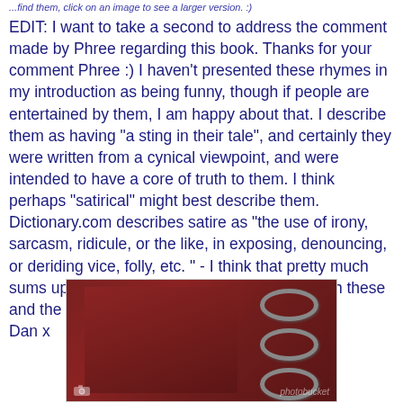...find them, click on an image to see a larger version. :)
EDIT: I want to take a second to address the comment made by Phree regarding this book. Thanks for your comment Phree :) I haven't presented these rhymes in my introduction as being funny, though if people are entertained by them, I am happy about that. I describe them as having "a sting in their tale", and certainly they were written from a cynical viewpoint, and were intended to have a core of truth to them. I think perhaps "satirical" might best describe them. Dictionary.com describes satire as "the use of irony, sarcasm, ridicule, or the like, in exposing, denouncing, or deriding vice, folly, etc. " - I think that pretty much sums up what I was hoping to achieve with both these and the first collection.
Dan x
[Figure (photo): Photo of a small red spiral-bound notebook with metal rings on the right side, with a photobucket watermark in the lower right corner.]